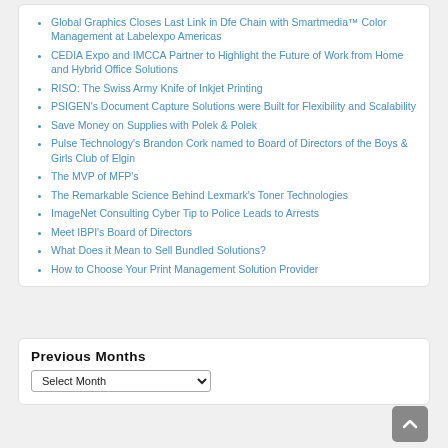Global Graphics Closes Last Link in Dfe Chain with Smartmedia™ Color Management at Labelexpo Americas
CEDIA Expo and IMCCA Partner to Highlight the Future of Work from Home and Hybrid Office Solutions
RISO: The Swiss Army Knife of Inkjet Printing
PSIGEN's Document Capture Solutions were Built for Flexibility and Scalability
Save Money on Supplies with Polek & Polek
Pulse Technology's Brandon Cork named to Board of Directors of the Boys & Girls Club of Elgin
The MVP of MFP's
The Remarkable Science Behind Lexmark's Toner Technologies
ImageNet Consulting Cyber Tip to Police Leads to Arrests
Meet IBPI's Board of Directors
What Does it Mean to Sell Bundled Solutions?
How to Choose Your Print Management Solution Provider
Previous Months